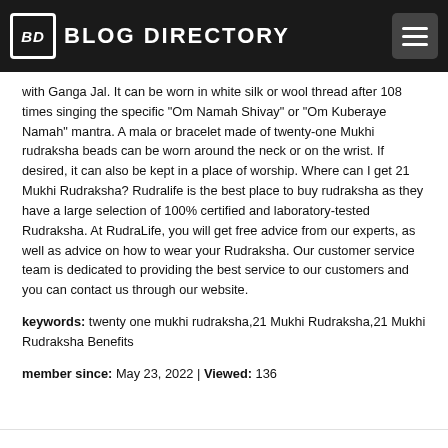BD BLOG DIRECTORY
with Ganga Jal. It can be worn in white silk or wool thread after 108 times singing the specific "Om Namah Shivay" or "Om Kuberaye Namah" mantra. A mala or bracelet made of twenty-one Mukhi rudraksha beads can be worn around the neck or on the wrist. If desired, it can also be kept in a place of worship. Where can I get 21 Mukhi Rudraksha? Rudralife is the best place to buy rudraksha as they have a large selection of 100% certified and laboratory-tested Rudraksha. At RudraLife, you will get free advice from our experts, as well as advice on how to wear your Rudraksha. Our customer service team is dedicated to providing the best service to our customers and you can contact us through our website.
keywords: twenty one mukhi rudraksha,21 Mukhi Rudraksha,21 Mukhi Rudraksha Benefits
member since: May 23, 2022 | Viewed: 136